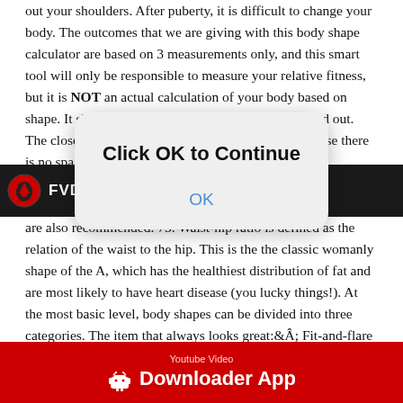out your shoulders. After puberty, it is difficult to change your body. The outcomes that we are giving with this body shape calculator are based on 3 measurements only, and this smart tool will only be responsible to measure your relative fitness, but it is NOT an actual calculation of your body based on shape. It should be comfortable while breathing in and out. The closer they are, the less waist you can have because there is no space for a waist. So, try the female body figure calculator to know about your body
[Figure (screenshot): Dark navigation bar with FVDTube.com logo (red shield icon) and site name in white bold text]
[Figure (screenshot): Modal dialog with white/light gray rounded rectangle background, title 'Click OK to Continue' in bold black, and 'OK' button text in blue]
are also recommended. 75. Waist-hip ratio is defined as the relation of the waist to the hip. This is the the classic womanly shape of the A, which has the healthiest distribution of fat and are most likely to have heart disease (you lucky things!). At the most basic level, body shapes can be divided into three categories. The item that always looks great:Â Fit-and-flare dresses. Hips: Start at one hip (below the hip bone) and wrap the tape measure around the largest part of your butt. Body measurements are
[Figure (screenshot): Red bottom banner bar with Android robot icon, 'Youtube Video' label, and 'Downloader App' text in white bold]